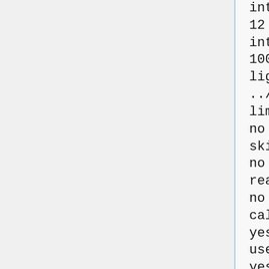internal_energy_rep_exp
12
internal_energy_cutoff
100
ligand_atom_file
../1S19_lig_min_scored.mol2
limit_max_ligands
no
skip_molecule
no
read_mol_solvation
no
calculate_rmsd
yes
use_rmsd_reference_mol
yes
rmsd_reference_filename
../1S19_lig_min_scored.mol2
use_database_filter
no
orient_ligand
yes
automated_matching
yes
receptor_site_file